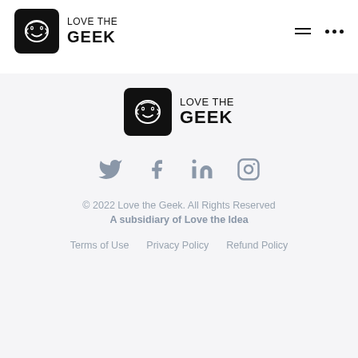LOVE THE GEEK
[Figure (logo): Love the Geek logo — black rounded square with stylized brain/geek face icon, text LOVE THE GEEK]
[Figure (logo): Love the Geek footer logo — same as header logo, larger]
[Figure (infographic): Social media icons: Twitter, Facebook, LinkedIn, Instagram]
© 2022 Love the Geek. All Rights Reserved
A subsidiary of Love the Idea
Terms of Use   Privacy Policy   Refund Policy